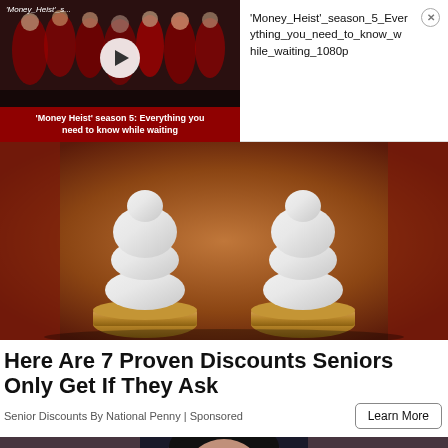[Figure (screenshot): Video thumbnail for Money Heist season 5 with play button and red title overlay reading "'Money Heist' season 5: Everything you need to know while waiting"]
'Money_Heist'_season_5_Everything_you_need_to_know_while_waiting_1080p
[Figure (photo): Photo of two white stacked chess pieces (pawns or rooks) on brown wooden bases, set against a reddish-brown background]
Here Are 7 Proven Discounts Seniors Only Get If They Ask
Senior Discounts By National Penny | Sponsored
[Figure (photo): Partial bottom image showing a person with dark hair against a blurred background]